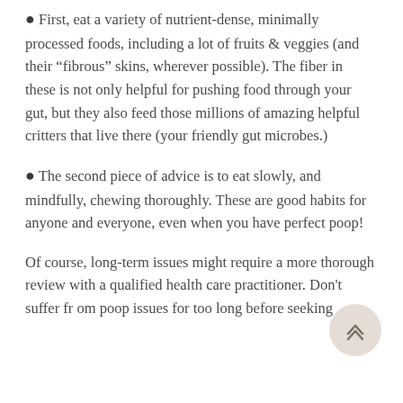First, eat a variety of nutrient-dense, minimally processed foods, including a lot of fruits & veggies (and their “fibrous” skins, wherever possible). The fiber in these is not only helpful for pushing food through your gut, but they also feed those millions of amazing helpful critters that live there (your friendly gut microbes.)
The second piece of advice is to eat slowly, and mindfully, chewing thoroughly. These are good habits for anyone and everyone, even when you have perfect poop!
Of course, long-term issues might require a more thorough review with a qualified health care practitioner. Don’t suffer from poop issues for too long before seeking